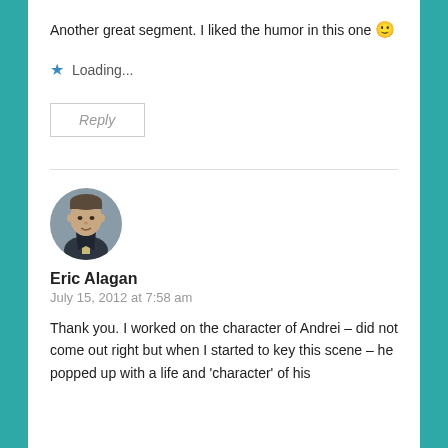Another great segment. I liked the humor in this one 🙂
⭐ Loading...
Reply
Eric Alagan
July 15, 2012 at 7:58 am
Thank you. I worked on the character of Andrei – did not come out right but when I started to key this scene – he popped up with a life and 'character' of his